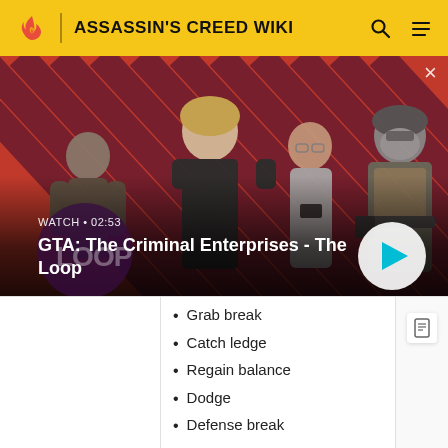ASSASSIN'S CREED WIKI
[Figure (screenshot): GTA: The Criminal Enterprises - The Loop video thumbnail with striped red/dark background and four characters (three characters and an armed figure). Shows WATCH • 02:53 label and play button.]
Grab break
Catch ledge
Regain balance
Dodge
Defense break